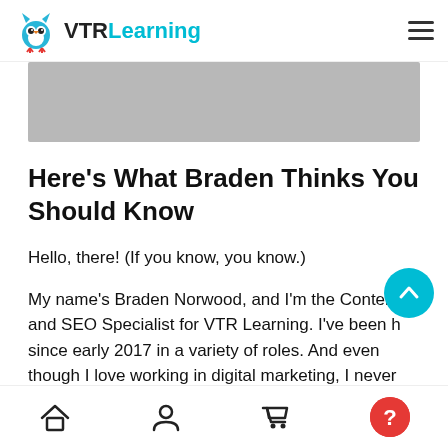VTRLearning
[Figure (photo): Gray banner image placeholder]
Here's What Braden Thinks You Should Know
Hello, there! (If you know, you know.)
My name's Braden Norwood, and I'm the Content and SEO Specialist for VTR Learning. I've been h since early 2017 in a variety of roles. And even though I love working in digital marketing, I never would have imagined myself ending up in this
Home | Profile | Cart | Help navigation icons